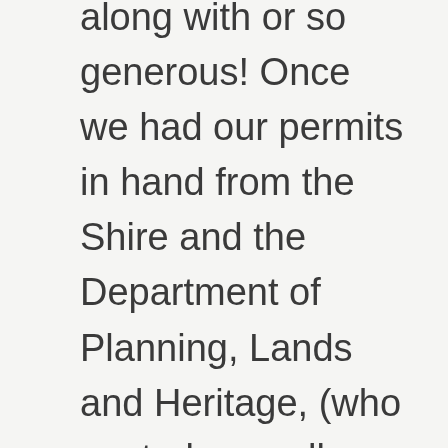along with or so generous! Once we had our permits in hand from the Shire and the Department of Planning, Lands and Heritage, (who control a small reserve on part of the site), we called Roadtech and they were on our site the next day. The Roadtech machine worked on the contour to maximise catchment of water, and minimise any erosion of the site. Murdoch University Work Placement student, Lalu Harly, had a very quick introduction to the Great